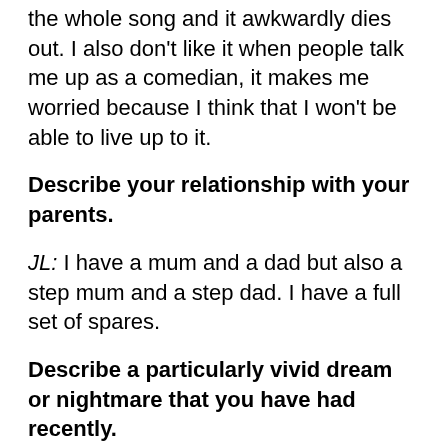the whole song and it awkwardly dies out. I also don't like it when people talk me up as a comedian, it makes me worried because I think that I won't be able to live up to it.
Describe your relationship with your parents.
JL: I have a mum and a dad but also a step mum and a step dad. I have a full set of spares.
Describe a particularly vivid dream or nightmare that you have had recently.